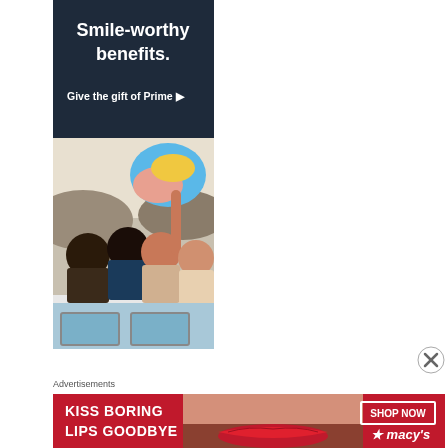[Figure (illustration): Amazon Prime advertisement with dark navy background showing text 'Smile-worthy benefits. Give the gift of Prime ▶' and a photo of a group of young people celebrating on a vehicle waving a colorful flag]
[Figure (photo): Group of happy young people on top of a van waving a colorful beach ball / flag in an outdoor setting]
Advertisements
[Figure (illustration): Macy's banner advertisement showing red background with text 'KISS BORING LIPS GOODBYE', a woman's face with red lips, a 'SHOP NOW' button, and the Macy's star logo]